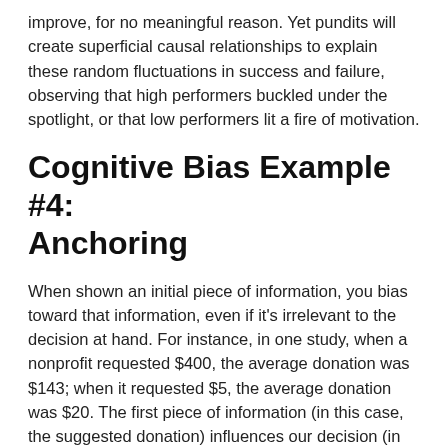improve, for no meaningful reason. Yet pundits will create superficial causal relationships to explain these random fluctuations in success and failure, observing that high performers buckled under the spotlight, or that low performers lit a fire of motivation.
Cognitive Bias Example #4: Anchoring
When shown an initial piece of information, you bias toward that information, even if it's irrelevant to the decision at hand. For instance, in one study, when a nonprofit requested $400, the average donation was $143; when it requested $5, the average donation was $20. The first piece of information (in this case, the suggested donation) influences our decision (in this case, how much to donate), even though the suggested amount shouldn't be relevant to deciding how much to give.